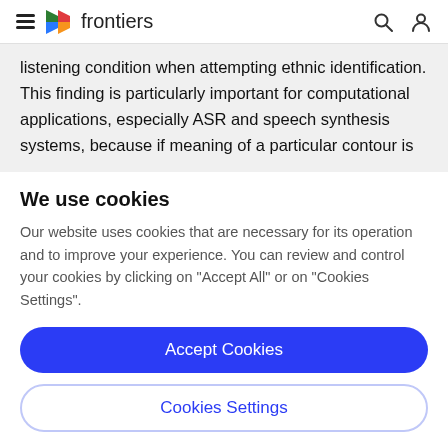frontiers
listening condition when attempting ethnic identification. This finding is particularly important for computational applications, especially ASR and speech synthesis systems, because if meaning of a particular contour is
We use cookies
Our website uses cookies that are necessary for its operation and to improve your experience. You can review and control your cookies by clicking on "Accept All" or on "Cookies Settings".
Accept Cookies
Cookies Settings